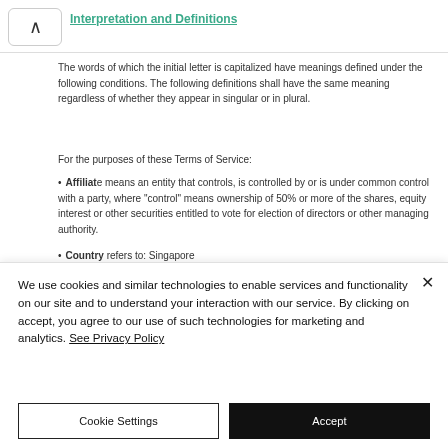Interpretation and Definitions
The words of which the initial letter is capitalized have meanings defined under the following conditions. The following definitions shall have the same meaning regardless of whether they appear in singular or in plural.
For the purposes of these Terms of Service:
Affiliate means an entity that controls, is controlled by or is under common control with a party, where "control" means ownership of 50% or more of the shares, equity interest or other securities entitled to vote for election of directors or other managing authority.
Country refers to: Singapore
We use cookies and similar technologies to enable services and functionality on our site and to understand your interaction with our service. By clicking on accept, you agree to our use of such technologies for marketing and analytics. See Privacy Policy